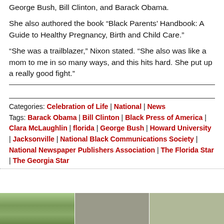George Bush, Bill Clinton, and Barack Obama.
She also authored the book “Black Parents’ Handbook: A Guide to Healthy Pregnancy, Birth and Child Care.”
“She was a trailblazer,” Nixon stated. “She also was like a mom to me in so many ways, and this hits hard. She put up a really good fight.”
Categories: Celebration of Life | National | News
Tags: Barack Obama | Bill Clinton | Black Press of America | Clara McLaughlin | florida | George Bush | Howard University | Jacksonville | National Black Communications Society | National Newspaper Publishers Association | The Florida Star | The Georgia Star
[Figure (photo): Three thumbnail photos at the bottom of the page]
[Figure (photo): Middle thumbnail photo]
[Figure (photo): Right thumbnail photo]